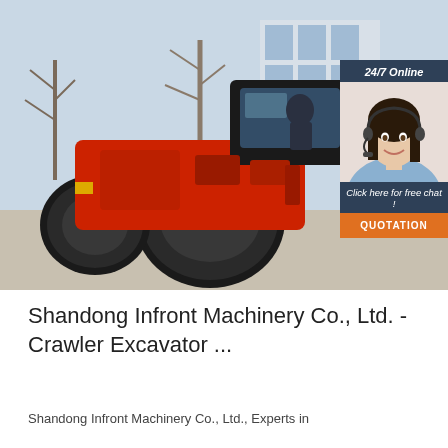[Figure (photo): A large red road roller / compactor machine photographed outdoors in front of a building with bare trees. On the right side of the image is a chat support overlay panel showing '24/7 Online' text, a female customer service agent with headset, 'Click here for free chat!' text, and an orange QUOTATION button.]
Shandong Infront Machinery Co., Ltd. - Crawler Excavator ...
Shandong Infront Machinery Co., Ltd., Experts in